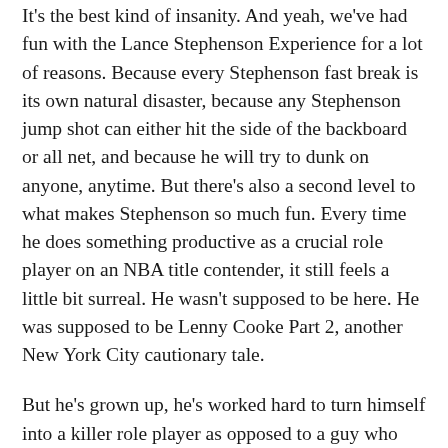It's the best kind of insanity. And yeah, we've had fun with the Lance Stephenson Experience for a lot of reasons. Because every Stephenson fast break is its own natural disaster, because any Stephenson jump shot can either hit the side of the backboard or all net, and because he will try to dunk on anyone, anytime. But there's also a second level to what makes Stephenson so much fun. Every time he does something productive as a crucial role player on an NBA title contender, it still feels a little bit surreal. He wasn't supposed to be here. He was supposed to be Lenny Cooke Part 2, another New York City cautionary tale.
But he's grown up, he's worked hard to turn himself into a killer role player as opposed to a guy who needs 25 shots a night, and he's making it in the NBA. I'm as shocked as you are. The best part? Everything that makes Stephenson such a nuisance for the rest of the NBA is pure New York City. He